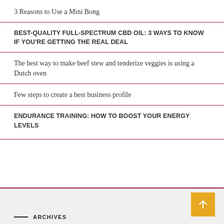3 Reasons to Use a Mini Bong
BEST-QUALITY FULL-SPECTRUM CBD OIL: 3 WAYS TO KNOW IF YOU'RE GETTING THE REAL DEAL
The best way to make beef stew and tenderize veggies is using a Dutch oven
Few steps to create a best business profile
ENDURANCE TRAINING: HOW TO BOOST YOUR ENERGY LEVELS
ARCHIVES